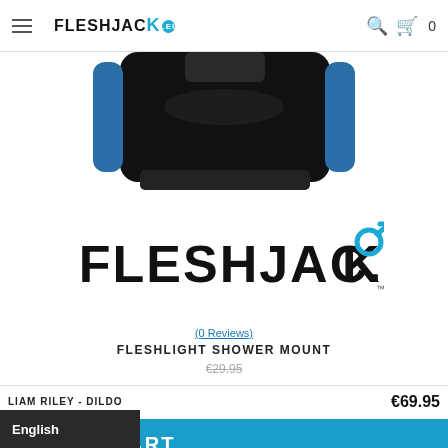FLESHJACK.eu — navigation bar with hamburger menu, logo, search, and cart (0)
[Figure (photo): Partial product photo of the Fleshlight Shower Mount device, showing black plastic casing against white background]
[Figure (logo): FLESHJACK brand logo in black bold uppercase text with blue male gender symbol arrow on the C, and TM mark]
(0 Reviews)
FLESHLIGHT SHOWER MOUNT
€29.95 (strikethrough price)
LIAM RILEY - DILDO
€69.95
ADD TO CART
English